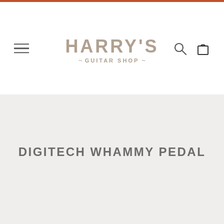Harry's Guitar Shop
DIGITECH WHAMMY PEDAL